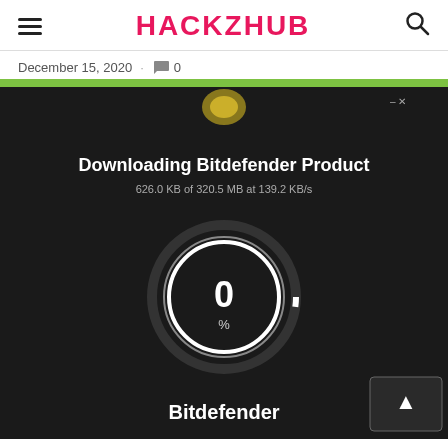HACKZHUB
December 15, 2020  .  💬 0
[Figure (screenshot): Bitdefender product download screen showing 'Downloading Bitdefender Product' with progress text '626.0 KB of 320.5 MB at 139.2 KB/s' and a circular progress indicator showing 0%, on a dark background with green accent bar at top and Bitdefender branding at bottom.]